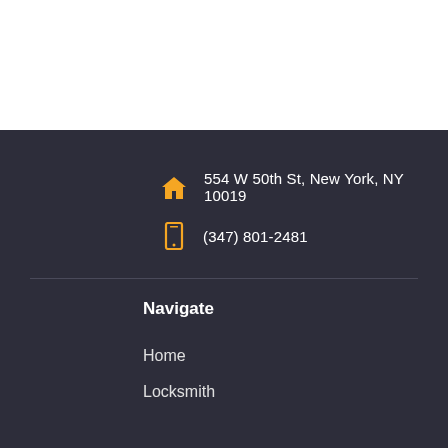554 W 50th St, New York, NY 10019
(347) 801-2481
Navigate
Home
Locksmith